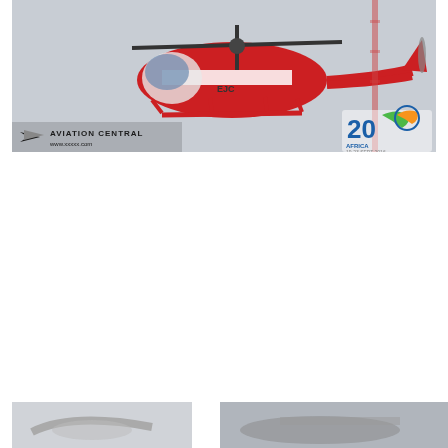[Figure (photo): Red and white helicopter in flight against a grey sky, with 'Aviation Central' logo in the bottom left and a '20 Africa' anniversary logo in the bottom right of the image]
[Figure (photo): Partial view of another aviation photo, appears to show an aircraft, cropped at the bottom right of the page]
[Figure (photo): Partial view of another aviation photo at the bottom left of the page, appears to show an aircraft]